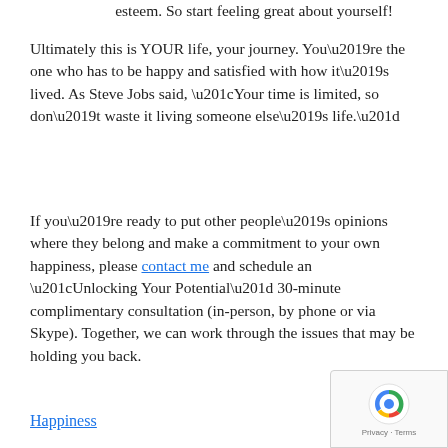esteem. So start feeling great about yourself!
Ultimately this is YOUR life, your journey. You’re the one who has to be happy and satisfied with how it’s lived. As Steve Jobs said, “Your time is limited, so don’t waste it living someone else’s life.”
If you’re ready to put other people’s opinions where they belong and make a commitment to your own happiness, please contact me and schedule an “Unlocking Your Potential” 30-minute complimentary consultation (in-person, by phone or via Skype). Together, we can work through the issues that may be holding you back.
Happiness